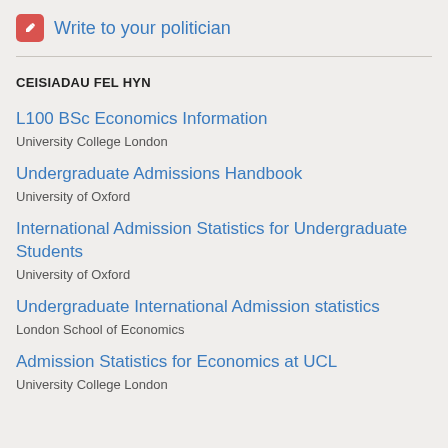Write to your politician
CEISIADAU FEL HYN
L100 BSc Economics Information
University College London
Undergraduate Admissions Handbook
University of Oxford
International Admission Statistics for Undergraduate Students
University of Oxford
Undergraduate International Admission statistics
London School of Economics
Admission Statistics for Economics at UCL
University College London